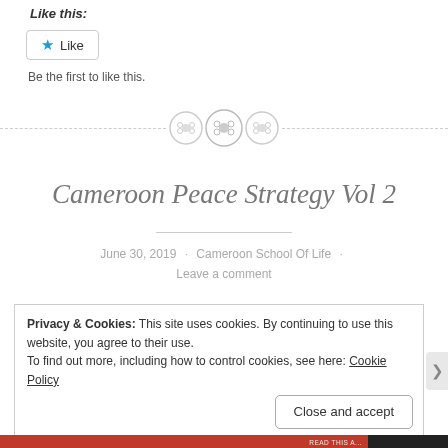Like this:
[Figure (screenshot): A 'Like' button with a blue star icon and the word 'Like' inside a rounded rectangle border]
Be the first to like this.
[Figure (illustration): Three stitched button icons arranged horizontally with a dashed horizontal line running through them as a divider]
Cameroon Peace Strategy Vol 2
June 30, 2019 · Cameroon School Of Life · Leave a comment
Privacy & Cookies: This site uses cookies. By continuing to use this website, you agree to their use.
To find out more, including how to control cookies, see here: Cookie Policy
Close and accept